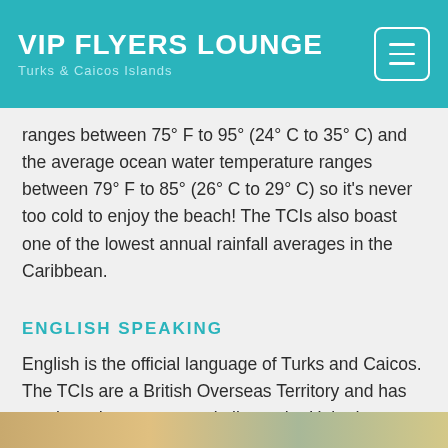VIP FLYERS LOUNGE
Turks & Caicos Islands
ranges between 75° F to 95° (24° C to 35° C) and the average ocean water temperature ranges between 79° F to 85° (26° C to 29° C) so it's never too cold to enjoy the beach! The TCIs also boast one of the lowest annual rainfall averages in the Caribbean.
ENGLISH SPEAKING
English is the official language of Turks and Caicos. The TCIs are a British Overseas Territory and has an elected government similar to the United Kingdom.
[Figure (photo): Partial bottom image strip showing sandy/coastal scenery]